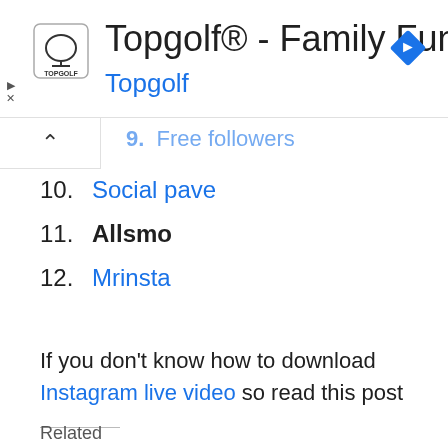[Figure (other): Topgolf advertisement banner with logo, title 'Topgolf® - Family Fun', subtitle 'Topgolf' in blue, and a blue navigation diamond icon on the right]
9. Free followers (partially visible, cut off at top)
10. Social pave
11. Allsmo
12. Mrinsta
If you don't know how to download Instagram live video so read this post